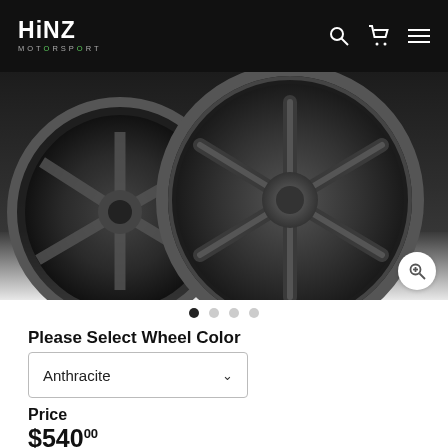HiNZ MOTORSPORT
[Figure (photo): Two dark anthracite alloy wheels photographed against a dark background, showing multi-spoke design with branded center cap.]
Please Select Wheel Color
Anthracite
Price
$540.00
Quantity